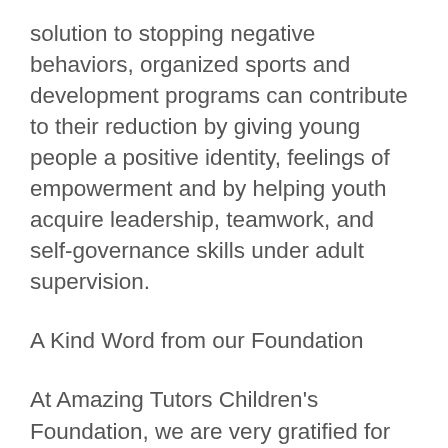solution to stopping negative behaviors, organized sports and development programs can contribute to their reduction by giving young people a positive identity, feelings of empowerment and by helping youth acquire leadership, teamwork, and self-governance skills under adult supervision.
A Kind Word from our Foundation
At Amazing Tutors Children's Foundation, we are very gratified for the depth and breadth of community